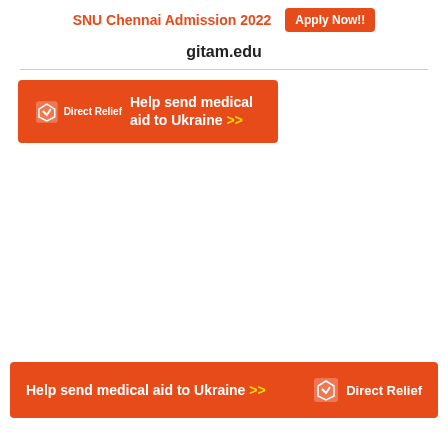SNU Chennai Admission 2022  Apply Now!!
gitam.edu
[Figure (infographic): Orange banner ad with Direct Relief logo and text 'Help send medical aid to Ukraine >>']
[Figure (infographic): Orange banner ad with text 'Help send medical aid to Ukraine >>' and Direct Relief logo on the right]